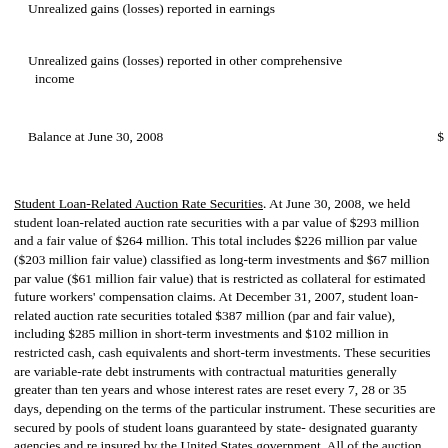Unrealized gains (losses) reported in earnings
Unrealized gains (losses) reported in other comprehensive income
Balance at June 30, 2008   $
Student Loan-Related Auction Rate Securities. At June 30, 2008, we held student loan-related auction rate securities with a par value of $293 million and a fair value of $264 million. This total includes $226 million par value ($203 million fair value) classified as long-term investments and $67 million par value ($61 million fair value) that is restricted as collateral for estimated future workers' compensation claims. At December 31, 2007, student loan-related auction rate securities totaled $387 million (par and fair value), including $285 million in short-term investments and $102 million in restricted cash, cash equivalents and short-term investments. These securities are variable-rate debt instruments with contractual maturities generally greater than ten years and whose interest rates are reset every 7, 28 or 35 days, depending on the terms of the particular instrument. These securities are secured by pools of student loans guaranteed by state-designated guaranty agencies and re insured by the United States government. All of the auction rate securities we hold are senior obligations under the applicable indentures authorizing the issuance of the securities. Auctions for these securities